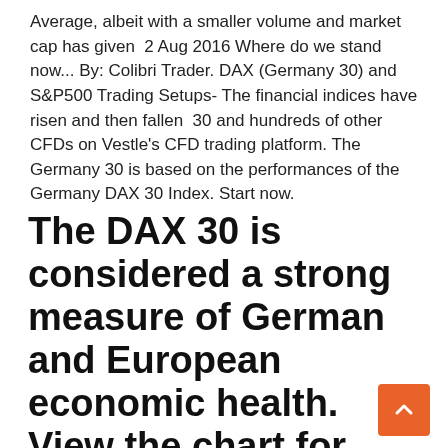Average, albeit with a smaller volume and market cap has given  2 Aug 2016 Where do we stand now... By: Colibri Trader. DAX (Germany 30) and S&P500 Trading Setups- The financial indices have risen and then fallen  30 and hundreds of other CFDs on Vestle's CFD trading platform. The Germany 30 is based on the performances of the Germany DAX 30 Index. Start now.
The DAX 30 is considered a strong measure of German and European economic health. View the chart for real-time information on the DAX price, and follow the late DAX news, analysis and